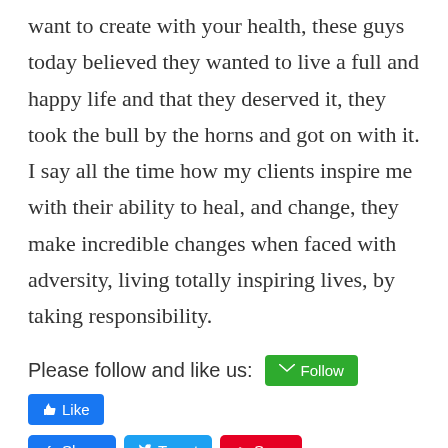want to create with your health, these guys today believed they wanted to live a full and happy life and that they deserved it, they took the bull by the horns and got on with it. I say all the time how my clients inspire me with their ability to heal, and change, they make incredible changes when faced with adversity, living totally inspiring lives, by taking responsibility.
Please follow and like us: [Follow] [Like] [Share] [Tweet] [Save]
← Previous Post   Next Post